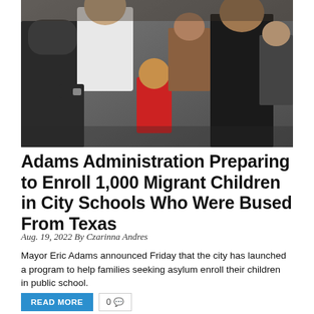[Figure (photo): Crowd of people including a young child in a red shirt, adults in various clothing, at what appears to be a public gathering or transit area.]
Adams Administration Preparing to Enroll 1,000 Migrant Children in City Schools Who Were Bused From Texas
Aug. 19, 2022 By Czarinna Andres
Mayor Eric Adams announced Friday that the city has launched a program to help families seeking asylum enroll their children in public school.
[Figure (infographic): Advertisement banner: NO SHORTAGE OF CARS AT MAJORWORLD! Our Selection Is..HUGE!]